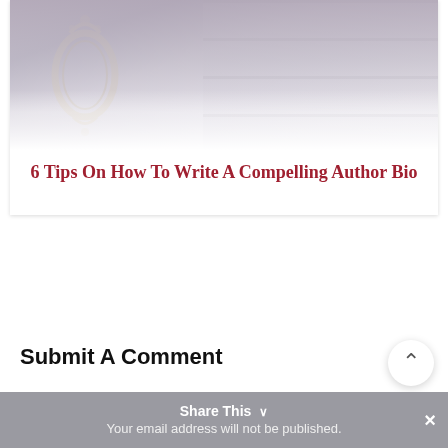[Figure (photo): Decorative ornate mirror with bookshelf background, partially faded at bottom — card thumbnail image]
6 Tips On How To Write A Compelling Author Bio
Submit A Comment
Your email address will not be published.
Share This ∨ ×